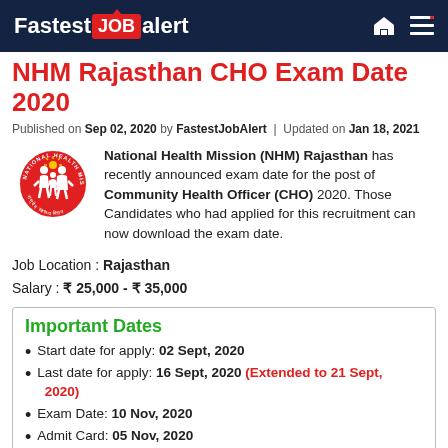FastestJOBalert
NHM Rajasthan CHO Exam Date 2020
Published on Sep 02, 2020 by FastestJobAlert | Updated on Jan 18, 2021
National Health Mission (NHM) Rajasthan has recently announced exam date for the post of Community Health Officer (CHO) 2020. Those Candidates who had applied for this recruitment can now download the exam date.
Job Location : Rajasthan
Salary : ₹ 25,000 - ₹ 35,000
Important Dates
Start date for apply: 02 Sept, 2020
Last date for apply: 16 Sept, 2020 (Extended to 21 Sept, 2020)
Exam Date: 10 Nov, 2020
Admit Card: 05 Nov, 2020